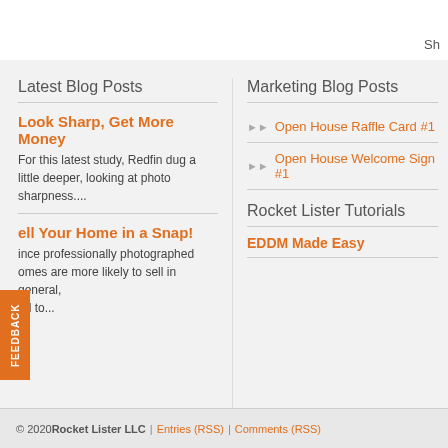Sh
Latest Blog Posts
Look Sharp, Get More Money
For this latest study, Redfin dug a little deeper, looking at photo sharpness....
ell Your Home in a Snap!
ince professionally photographed omes are more likely to sell in general, nd to...
Marketing Blog Posts
Open House Raffle Card #1
Open House Welcome Sign #1
Rocket Lister Tutorials
EDDM Made Easy
© 2020 Rocket Lister LLC | Entries (RSS) | Comments (RSS)